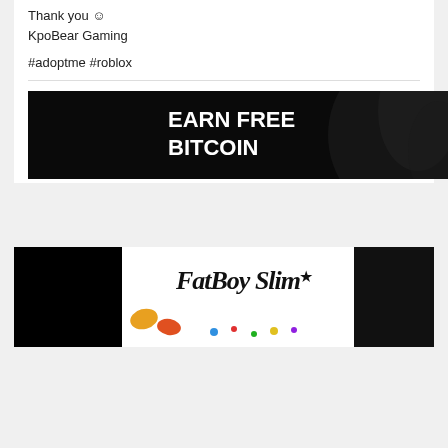Thank you ☺
KpoBear Gaming
#adoptme #roblox
[Figure (illustration): Black banner advertisement with bold white text reading EARN FREE BITCOIN with decorative dark wave/smoke graphic background]
[Figure (illustration): Black banner showing Fatboy Slim logo in graffiti-style handwriting with colorful confetti and decorative elements in the center, flanked by black panels]